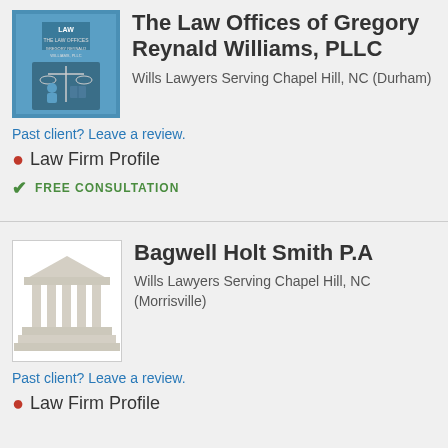[Figure (photo): Law firm logo/photo for The Law Offices of Gregory Reynald Williams, PLLC with blue background and scales of justice imagery]
The Law Offices of Gregory Reynald Williams, PLLC
Wills Lawyers Serving Chapel Hill, NC (Durham)
Past client? Leave a review.
Law Firm Profile
FREE CONSULTATION
[Figure (illustration): Generic law firm icon showing a classical building with columns on white background]
Bagwell Holt Smith P.A
Wills Lawyers Serving Chapel Hill, NC (Morrisville)
Past client? Leave a review.
Law Firm Profile